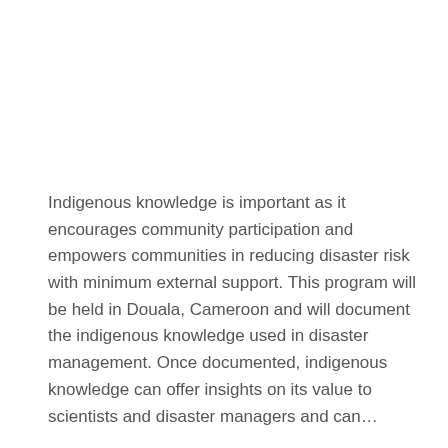Indigenous knowledge is important as it encourages community participation and empowers communities in reducing disaster risk with minimum external support. This program will be held in Douala, Cameroon and will document the indigenous knowledge used in disaster management. Once documented, indigenous knowledge can offer insights on its value to scientists and disaster managers and can…
READ MORE